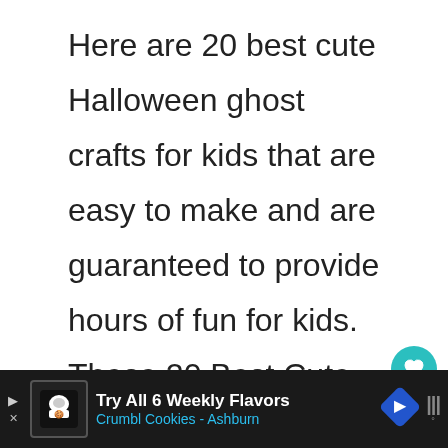Here are 20 best cute Halloween ghost crafts for kids that are easy to make and are guaranteed to provide hours of fun for kids. These 20 Best Cute Halloween Ghost Crafts For Kids are a must this Halloween! Hooray …
[Figure (other): Social UI overlay: heart/like button (teal circle with heart icon), count '1', and share button (white circle with share icon)]
[Figure (other): Advertisement banner at bottom: dark background, Crumbl Cookies ad with logo, 'Try All 6 Weekly Flavors', 'Crumbl Cookies - Ashburn', blue navigation arrow icon, and Moovit icon on right]